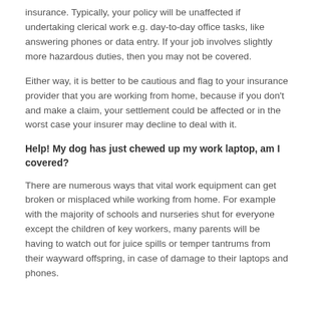insurance. Typically, your policy will be unaffected if undertaking clerical work e.g. day-to-day office tasks, like answering phones or data entry. If your job involves slightly more hazardous duties, then you may not be covered.
Either way, it is better to be cautious and flag to your insurance provider that you are working from home, because if you don't and make a claim, your settlement could be affected or in the worst case your insurer may decline to deal with it.
Help! My dog has just chewed up my work laptop, am I covered?
There are numerous ways that vital work equipment can get broken or misplaced while working from home. For example with the majority of schools and nurseries shut for everyone except the children of key workers, many parents will be having to watch out for juice spills or temper tantrums from their wayward offspring, in case of damage to their laptops and phones.